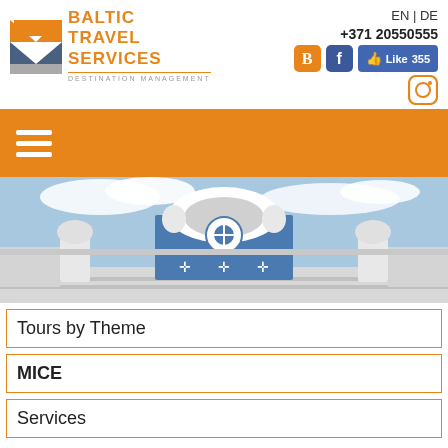[Figure (logo): Baltic Travel Services logo with orange and grey chevron/arrow icon and text BALTIC TRAVEL SERVICES DESTINATION MANAGEMENT]
EN | DE
+371 20550555
[Figure (infographic): Social media icons: Blogger (orange B), Facebook (blue f), Facebook Like button with 355 likes, Instagram icon]
[Figure (photo): Art nouveau building facade with ornate white sculptural decorations and blue tiled panels against a cloudy blue sky]
Tours by Theme
MICE
Services